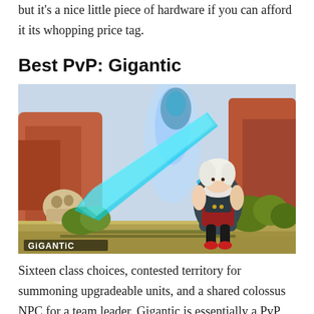but it's a nice little piece of hardware if you can afford it its whopping price tag.
Best PvP: Gigantic
[Figure (screenshot): Screenshot from the video game Gigantic showing a young character with white hair wielding a large glowing cyan sword, standing in a colorful environment with red rock formations and green trees. The Gigantic logo appears in the lower left corner of the image.]
Sixteen class choices, contested territory for summoning upgradeable units, and a shared colossus NPC for a team leader. Gigantic is essentially a PvP version of a constant final raid boss battle every time. The entire weekend